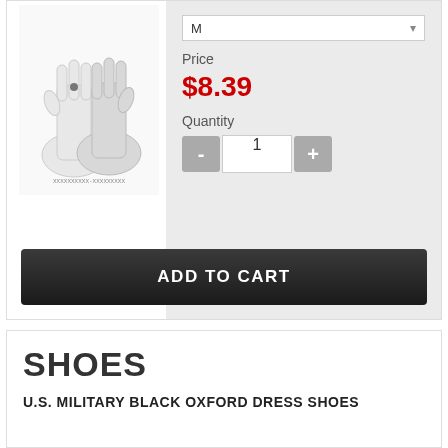[Figure (photo): White military dress gloves product photo]
Price
$8.39
Quantity
ADD TO CART
SHOES
U.S. MILITARY BLACK OXFORD DRESS SHOES